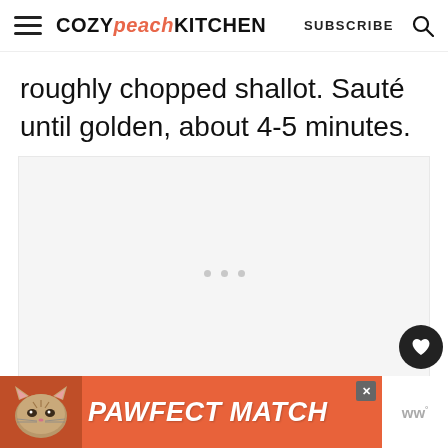COZY peach KITCHEN  SUBSCRIBE
roughly chopped shallot. Sauté until golden, about 4-5 minutes.
[Figure (other): Gray placeholder box with three loading dots, indicating an image or ad is loading.]
[Figure (other): Orange advertisement banner at bottom showing a cat photo and the text PAWFECT MATCH in bold italic white letters, with a close button and Woo logo on the right.]